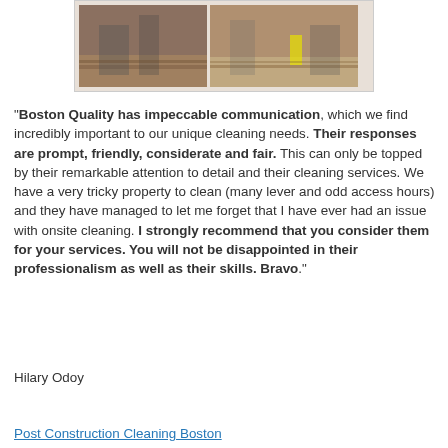[Figure (photo): Two side-by-side photos of office/commercial space being cleaned, showing people walking through interior spaces with hard wood floors]
"Boston Quality has impeccable communication, which we find incredibly important to our unique cleaning needs. Their responses are prompt, friendly, considerate and fair. This can only be topped by their remarkable attention to detail and their cleaning services. We have a very tricky property to clean (many lever and odd access hours) and they have managed to let me forget that I have ever had an issue with onsite cleaning. I strongly recommend that you consider them for your services. You will not be disappointed in their professionalism as well as their skills. Bravo."
Hilary Odoy
Post Construction Cleaning Boston